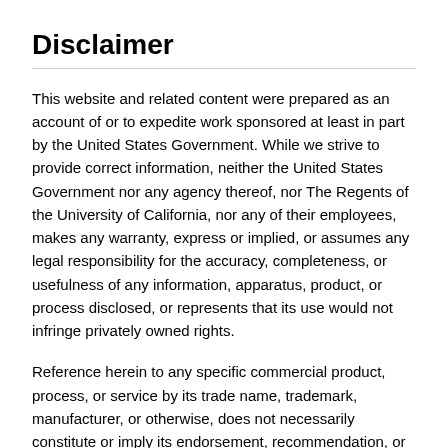Disclaimer
This website and related content were prepared as an account of or to expedite work sponsored at least in part by the United States Government. While we strive to provide correct information, neither the United States Government nor any agency thereof, nor The Regents of the University of California, nor any of their employees, makes any warranty, express or implied, or assumes any legal responsibility for the accuracy, completeness, or usefulness of any information, apparatus, product, or process disclosed, or represents that its use would not infringe privately owned rights.
Reference herein to any specific commercial product, process, or service by its trade name, trademark, manufacturer, or otherwise, does not necessarily constitute or imply its endorsement, recommendation, or